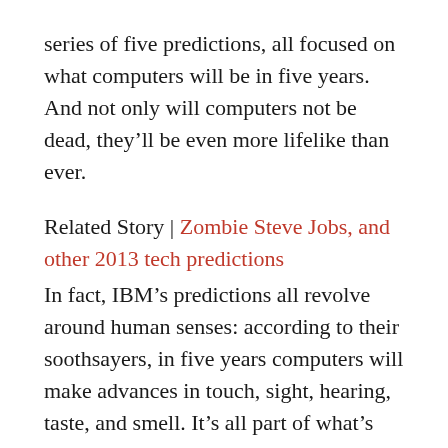series of five predictions, all focused on what computers will be in five years. And not only will computers not be dead, they’ll be even more lifelike than ever.
Related Story | Zombie Steve Jobs, and other 2013 tech predictions
In fact, IBM’s predictions all revolve around human senses: according to their soothsayers, in five years computers will make advances in touch, sight, hearing, taste, and smell. It’s all part of what’s called cognitive computing – computers that can think, react and behave like a human. Computers that understand their environment, and can react to improve it.
In this video, IBM introduces cognitive computing: